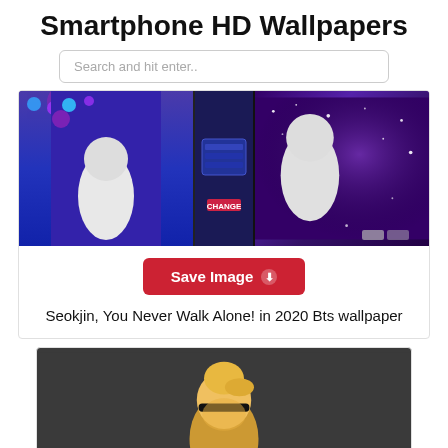Smartphone HD Wallpapers
Search and hit enter..
[Figure (photo): Collage of BTS members on stage with blue and purple lighting; left panel shows member in white shirt with colorful bokeh lights, center panel shows DJ equipment with CHANGE label, right panel shows member in white shirt against sparkly purple background]
Save Image
Seokjin, You Never Walk Alone! in 2020 Bts wallpaper
[Figure (photo): K-pop idol with blonde hair and black headband, photographed from above against dark background]